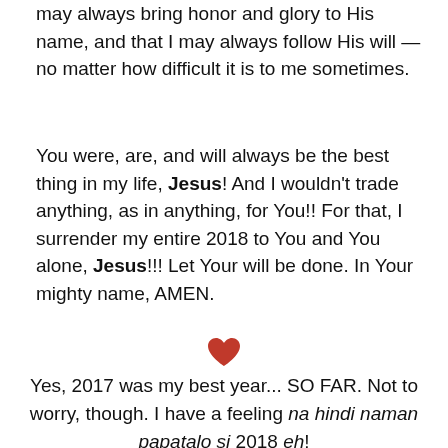may always bring honor and glory to His name, and that I may always follow His will — no matter how difficult it is to me sometimes.
You were, are, and will always be the best thing in my life, Jesus! And I wouldn't trade anything, as in anything, for You!! For that, I surrender my entire 2018 to You and You alone, Jesus!!! Let Your will be done. In Your mighty name, AMEN.
[Figure (illustration): A small red heart emoji/symbol centered on the page.]
Yes, 2017 was my best year... SO FAR. Not to worry, though. I have a feeling na hindi naman papatalo si 2018 eh!